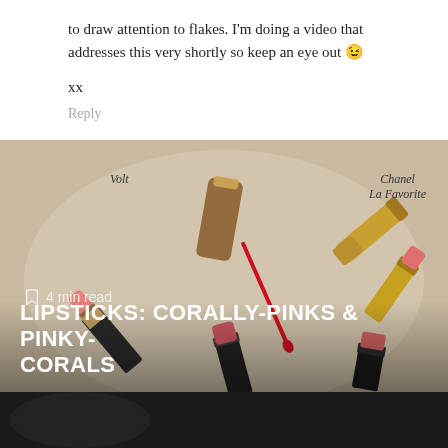to draw attention to flakes. I'm doing a video that addresses this very shortly so keep an eye out 😉
xx
Reply
[Figure (photo): Flat lay of several lipsticks and a lip gloss on a light beige surface. Labels visible: Volt, Chanel La Favorite, Burberry Primrose. A bookmark icon and '4 min read' text overlay on left side. Bold white title text at bottom: LIPSTICKS: CORALLY-PINKS & PINKY-CORALS]
[Figure (photo): Dark strip at the very bottom, partial view of another image section]